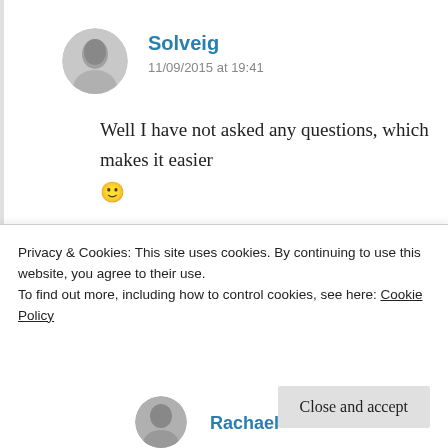Solveig
11/09/2015 at 19:41
Well I have not asked any questions, which makes it easier 🙂

It took me over a month to accept my nomination...
★ Liked by 1 person
Privacy & Cookies: This site uses cookies. By continuing to use this website, you agree to their use.
To find out more, including how to control cookies, see here: Cookie Policy
Close and accept
Rachael